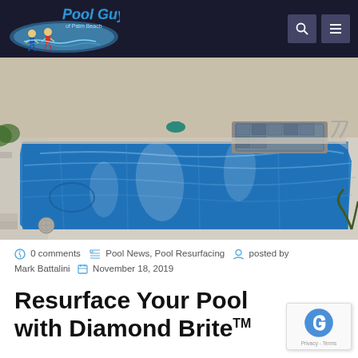Pool Guys of Palm Beach
[Figure (photo): Aerial view of a modern rectangular swimming pool with blue water, spa/hot tub area with stone coping, water features, and surrounding light-colored concrete patio]
0 comments   Pool News, Pool Resurfacing   posted by Mark Battalini   November 18, 2019
Resurface Your Pool with Diamond Brite™